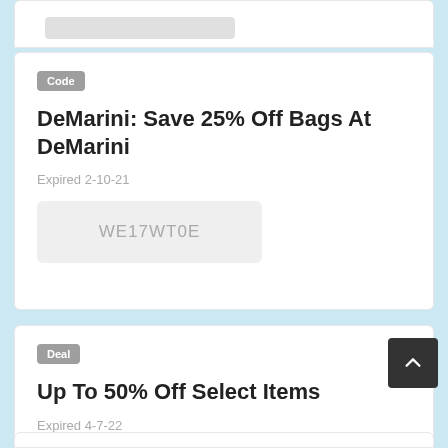[Figure (other): Partial top of a coupon/deal card showing a grey rectangle placeholder]
Code
DeMarini: Save 25% Off Bags At DeMarini
Expired 2-10-21
WE17WT0E
Deal
Up To 50% Off Select Items
Expired 4-7-22
Get Deal →